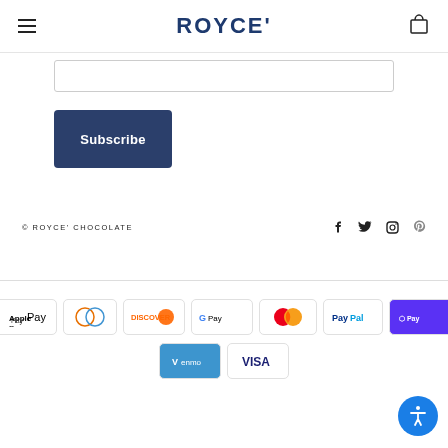ROYCE'
[Figure (screenshot): Email input text field box]
[Figure (screenshot): Subscribe button, dark navy blue with white text]
© ROYCE' CHOCOLATE
[Figure (infographic): Payment method icons: Apple Pay, Diners Club, Discover, Google Pay, Mastercard, PayPal, Shop Pay, Venmo, Visa]
[Figure (logo): Gift/loyalty program circle button bottom left]
[Figure (logo): Accessibility circle button bottom right]